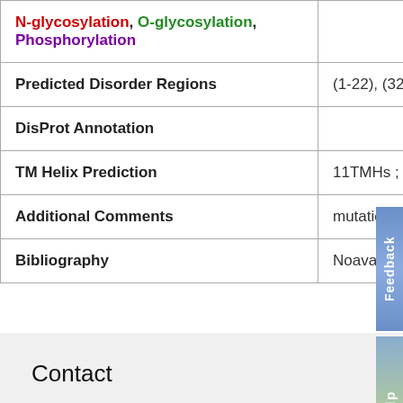| Property | Value |
| --- | --- |
| N-glycosylation, O-glycosylation, Phosphorylation |  |
| Predicted Disorder Regions | (1-22), (32-44) , (2... |
| DisProt Annotation |  |
| TM Helix Prediction | 11TMHs ; (54-72),... |
| Additional Comments | mutations in this g... |
| Bibliography | Noavar S, Behroo... |
Contact